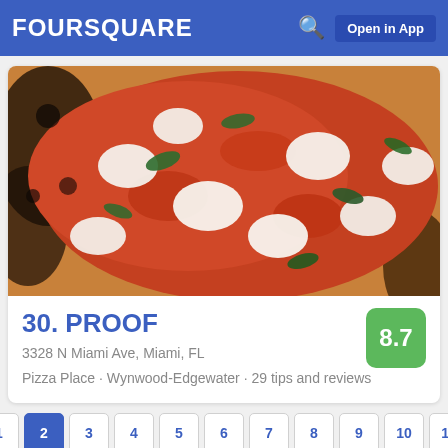FOURSQUARE  Open in App
[Figure (photo): Close-up photo of a Margherita pizza with mozzarella, tomato sauce, and fresh basil leaves on a wood-fired crust]
30. PROOF
3328 N Miami Ave, Miami, FL
Pizza Place · Wynwood-Edgewater · 29 tips and reviews
8.7
1 2 3 4 5 6 7 8 9 10 11 12 13 14 15 16 17 18 19 20